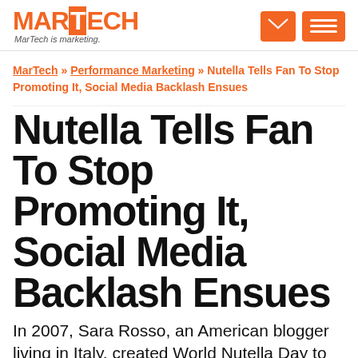MARTECH — MarTech is marketing.
MarTech » Performance Marketing » Nutella Tells Fan To Stop Promoting It, Social Media Backlash Ensues
Nutella Tells Fan To Stop Promoting It, Social Media Backlash Ensues
In 2007, Sara Rosso, an American blogger living in Italy, created World Nutella Day to showcase her enthusiasm for Italy's